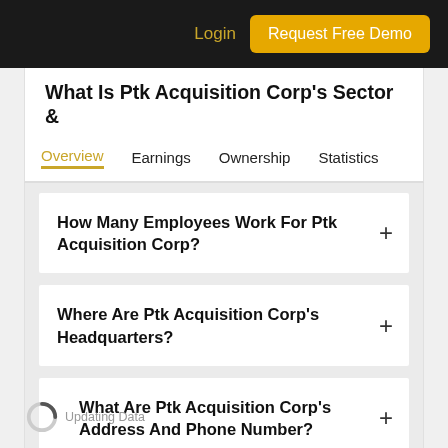Login | Request Free Demo
What Is Ptk Acquisition Corp's Sector &
Overview | Earnings | Ownership | Statistics
How Many Employees Work For Ptk Acquisition Corp?
Where Are Ptk Acquisition Corp's Headquarters?
Updating Data
What Are Ptk Acquisition Corp's Address And Phone Number?